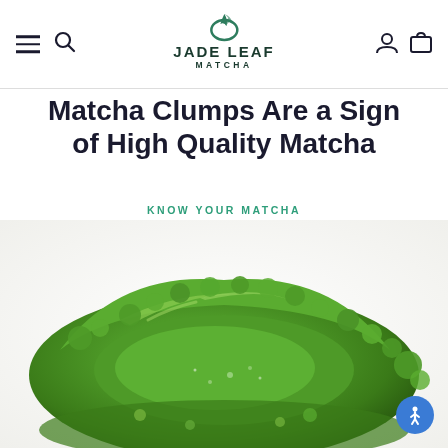Jade Leaf Matcha - navigation bar with logo, hamburger menu, search, account, and cart icons
Matcha Clumps Are a Sign of High Quality Matcha
KNOW YOUR MATCHA
[Figure (photo): Close-up photo of vibrant green matcha powder arranged in a mound/swirl shape on a white background, showing fine texture and bright green color]